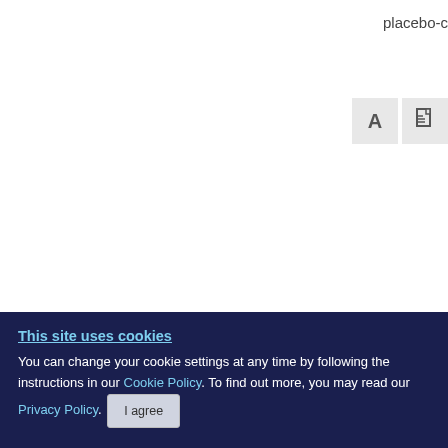placebo-c
[Figure (screenshot): Two icon buttons: a text/font icon (A) and a document icon, shown as gray square buttons in the top right area of a web interface]
[Figure (other): Green vertical tab button labeled 'Need help?' rotated 90 degrees, positioned on the right side of the page]
×
This site uses cookies
You can change your cookie settings at any time by following the instructions in our Cookie Policy. To find out more, you may read our Privacy Policy.
I agree